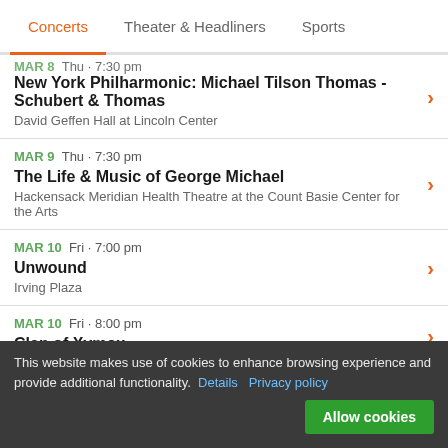Concerts | Theater & Headliners | Sports
MAR 8 · Thu · 7:30 pm
New York Philharmonic: Michael Tilson Thomas - Schubert & Thomas
David Geffen Hall at Lincoln Center
MAR 9  Thu · 7:30 pm
The Life & Music of George Michael
Hackensack Meridian Health Theatre at the Count Basie Center for the Arts
MAR 10  Fri · 7:00 pm
Unwound
Irving Plaza
MAR 10  Fri · 8:00 pm
Clan of Xymox
This website makes use of cookies to enhance browsing experience and provide additional functionality. Details  Privacy policy
Allow cookies